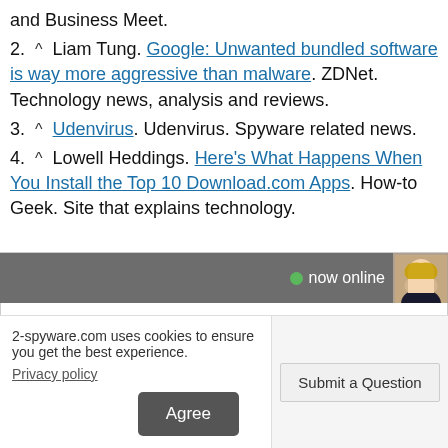and Business Meet.
2. ^ Liam Tung. Google: Unwanted bundled software is way more aggressive than malware. ZDNet. Technology news, analysis and reviews.
3. ^ Udenvirus. Udenvirus. Spyware related news.
4. ^ Lowell Heddings. Here's What Happens When You Install the Top 10 Download.com Apps. How-to Geek. Site that explains technology.
[Figure (screenshot): Chat widget overlay showing 'now online' status with female avatar, gray header bar, and text input area saying 'How may we help you? Type in your question.']
[Figure (screenshot): Cookie consent bar: '2-spyware.com uses cookies to ensure you get the best experience. Privacy policy' with Agree button, and 'Submit a Question' button on the right.]